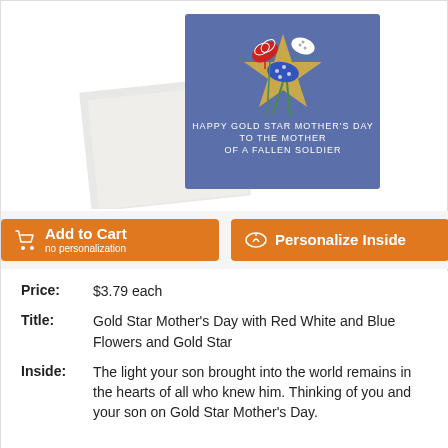[Figure (photo): Product photo of a greeting card with blue background, gold star, and red white and blue flowers, with envelope visible. Text on card reads: HAPPY GOLD STAR MOTHER'S DAY TO THE MOTHER OF A FALLEN SOLDIER]
[Figure (other): Two orange buttons: 'Add to Cart no personalization' with shopping cart icon, and 'Personalize Inside' with pen/write icon]
Price: $3.79 each
Title: Gold Star Mother's Day with Red White and Blue Flowers and Gold Star
Inside: The light your son brought into the world remains in the hearts of all who knew him. Thinking of you and your son on Gold Star Mother's Day.